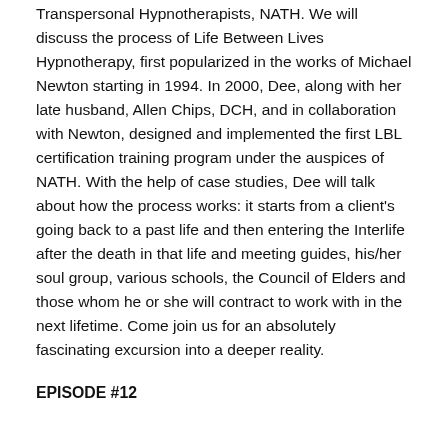Transpersonal Hypnotherapists, NATH.  We will discuss the process of Life Between Lives Hypnotherapy, first popularized in the works of Michael Newton starting in 1994.  In 2000, Dee, along with her late husband, Allen Chips, DCH, and in collaboration with Newton, designed and implemented the first LBL certification training program under the auspices of NATH.  With the help of case studies, Dee will talk about how the process works: it starts from a client's going back to a past life and then entering the Interlife after the death in that life and meeting guides, his/her soul group, various schools, the Council of Elders and those whom he or she will contract to work with in the next lifetime. Come join us for an absolutely fascinating excursion into a deeper reality.
EPISODE #12